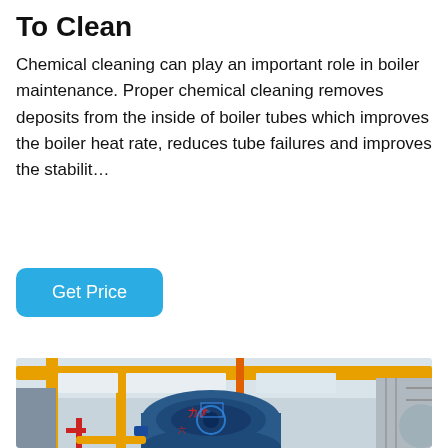To Clean
Chemical cleaning can play an important role in boiler maintenance. Proper chemical cleaning removes deposits from the inside of boiler tubes which improves the boiler heat rate, reduces tube failures and improves the stabilit…
[Figure (other): Blue rounded button labeled 'Get Price' with cyan/blue background]
[Figure (photo): Industrial boiler room interior showing a large blue cylindrical boiler with Chinese characters on the front, yellow overhead piping and supports, red and blue pipes, orange vertical pipes, and a staircase in the background. The facility appears to be a modern industrial boiler installation.]